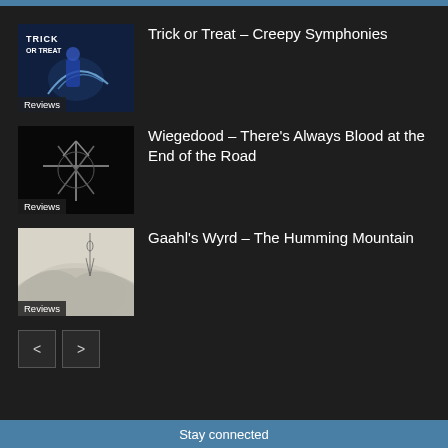Trick or Treat – Creepy Symphonies
Wiegedood – There's Always Blood at the End of the Road
Gaahl's Wyrd – The Humming Mountain
Stay connected